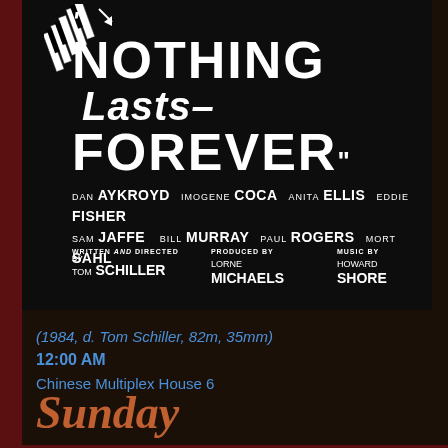[Figure (photo): Movie poster for 'Nothing Lasts Forever' (1984) on black background. Shows stylized piano keys illustration in top left. Title text in large bold white lettering: '"NOTHING Lasts FOREVER"'. Cast credits list: DAN AYKROYD, IMOGENE COCA, ANITA ELLIS, EDDIE FISHER, SAM JAFFE, BILL MURRAY, PAUL ROGERS, MORT SAHL. Written and Directed by TOM SCHILLER. Produced by LORNE MICHAELS. Music by HOWARD SHORE.]
(1984, d. Tom Schiller, 82m, 35mm)
12:00 AM
Chinese Multiplex House 6
Sunday